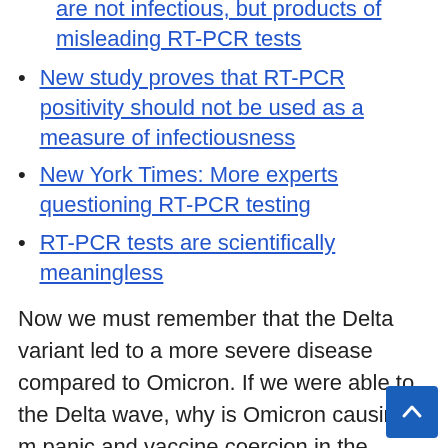are not infectious, but products of misleading RT-PCR tests
New study proves that RT-PCR positivity should not be used as a measure of infectiousness
New York Times: More experts questioning RT-PCR testing
RT-PCR tests are scientifically meaningless
Now we must remember that the Delta variant led to a more severe disease compared to Omicron. If we were able to the Delta wave, why is Omicron causing m panic and vaccine coercion in the Philippines?